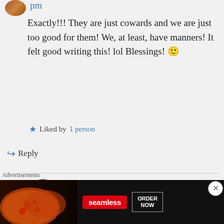pm
Exactly!!! They are just cowards and we are just too good for them! We, at least, have manners! It felt good writing this! lol Blessings! 🙂
★ Liked by 1 person
↪ Reply
rougebianco1 on July 9, 2015 at 7:46 pm
Thank you! Yes, I'm sure you did
Advertisements
[Figure (screenshot): Seamless food ordering advertisement banner with pizza image, Seamless logo in red, and ORDER NOW button]